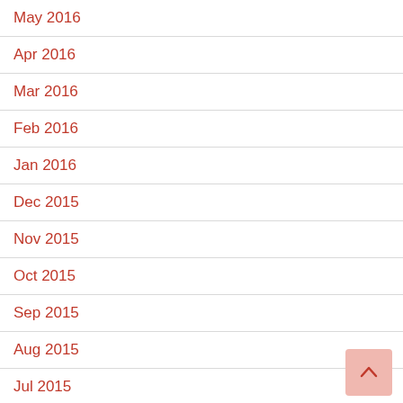May 2016
Apr 2016
Mar 2016
Feb 2016
Jan 2016
Dec 2015
Nov 2015
Oct 2015
Sep 2015
Aug 2015
Jul 2015
Jun 2015
May 2015